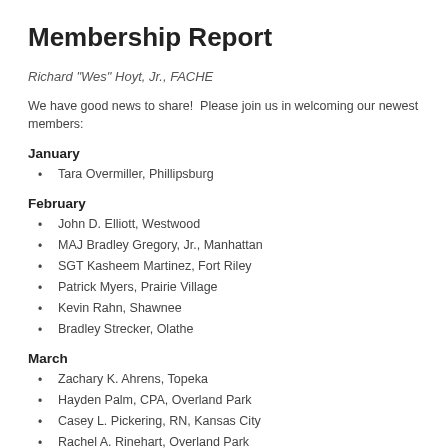Membership Report
Richard "Wes" Hoyt, Jr., FACHE
We have good news to share!  Please join us in welcoming our newest members:
January
Tara Overmiller, Phillipsburg
February
John D. Elliott, Westwood
MAJ Bradley Gregory, Jr., Manhattan
SGT Kasheem Martinez, Fort Riley
Patrick Myers, Prairie Village
Kevin Rahn, Shawnee
Bradley Strecker, Olathe
March
Zachary K. Ahrens, Topeka
Hayden Palm, CPA, Overland Park
Casey L. Pickering, RN, Kansas City
Rachel A. Rinehart, Overland Park
Shiloh Sutton, BS, Overland Park